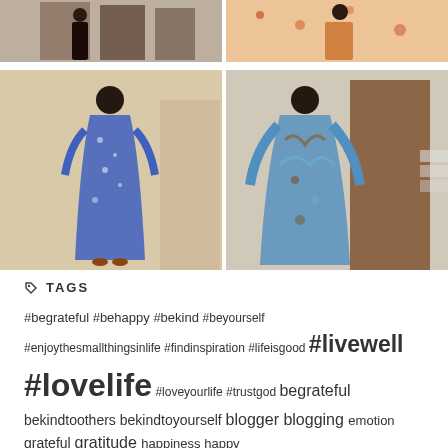[Figure (photo): Four photos of a woman in colorful dresses arranged in a 2x2 grid. Top-left: woman in dark dress in interior. Top-right: woman in orange floral dress. Bottom-left: woman in blue floral dress standing in room. Bottom-right: woman in blue/brown tropical print kaftan near door.]
TAGS
#begrateful #behappy #bekind #beyourself #enjoythesmallthingsinlife #findinspiration #lifeisgood #livewell #lovelife #loveyourlife #trustgod begrateful bekindtoothers bekindtoyourself blogger blogging emotion grateful gratitude happiness happy Inspiration joy lessons